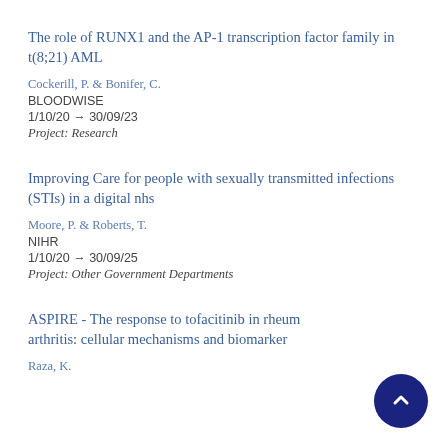The role of RUNX1 and the AP-1 transcription factor family in t(8;21) AML
Cockerill, P. & Bonifer, C.
BLOODWISE
1/10/20 → 30/09/23
Project: Research
Improving Care for people with sexually transmitted infections (STIs) in a digital nhs
Moore, P. & Roberts, T.
NIHR
1/10/20 → 30/09/25
Project: Other Government Departments
ASPIRE - The response to tofacitinib in rheumatoid arthritis: cellular mechanisms and biomarkers
Raza, K.